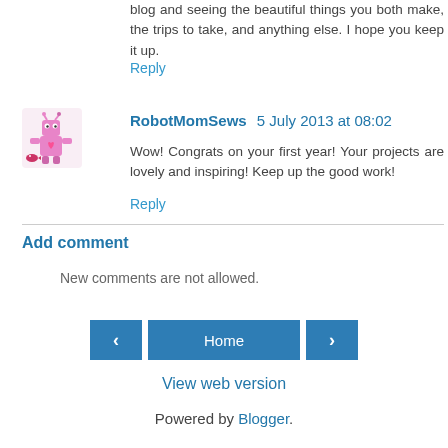blog and seeing the beautiful things you both make, the trips to take, and anything else. I hope you keep it up.
Reply
RobotMomSews 5 July 2013 at 08:02
Wow! Congrats on your first year! Your projects are lovely and inspiring! Keep up the good work!
Reply
Add comment
New comments are not allowed.
Home
View web version
Powered by Blogger.